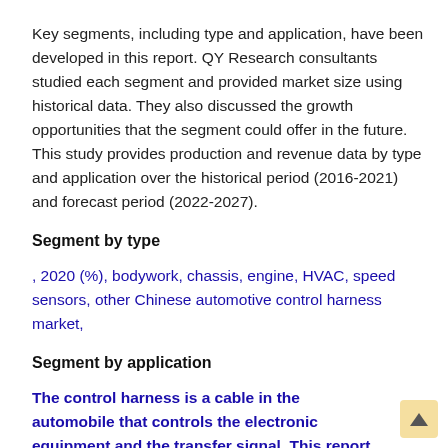Key segments, including type and application, have been developed in this report. QY Research consultants studied each segment and provided market size using historical data. They also discussed the growth opportunities that the segment could offer in the future. This study provides production and revenue data by type and application over the historical period (2016-2021) and forecast period (2022-2027).
Segment by type
, 2020 (%), bodywork, chassis, engine, HVAC, speed sensors, other Chinese automotive control harness market,
Segment by application
The control harness is a cable in the automobile that controls the electronic equipment and the transfer signal. This report contains the market size and forecast of China Automotive